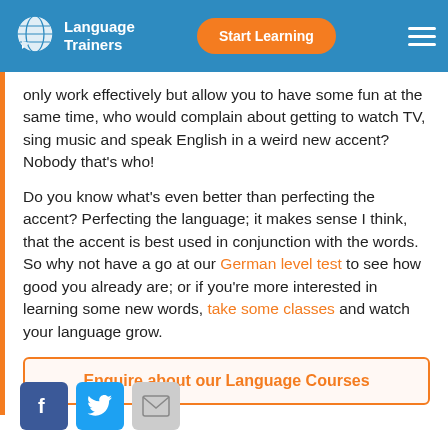Language Trainers | Start Learning
only work effectively but allow you to have some fun at the same time, who would complain about getting to watch TV, sing music and speak English in a weird new accent? Nobody that's who!
Do you know what's even better than perfecting the accent? Perfecting the language; it makes sense I think, that the accent is best used in conjunction with the words. So why not have a go at our German level test to see how good you already are; or if you're more interested in learning some new words, take some classes and watch your language grow.
Enquire about our Language Courses